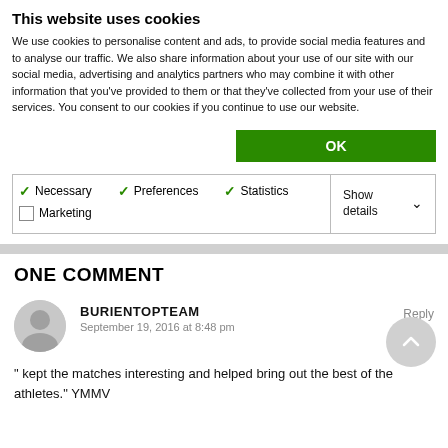This website uses cookies
We use cookies to personalise content and ads, to provide social media features and to analyse our traffic. We also share information about your use of our site with our social media, advertising and analytics partners who may combine it with other information that you've provided to them or that they've collected from your use of their services. You consent to our cookies if you continue to use our website.
OK
Necessary  Preferences  Statistics  Marketing  Show details
ONE COMMENT
BURIENTOPTEAM
September 19, 2016 at 8:48 pm
Reply
" kept the matches interesting and helped bring out the best of the athletes." YMMV